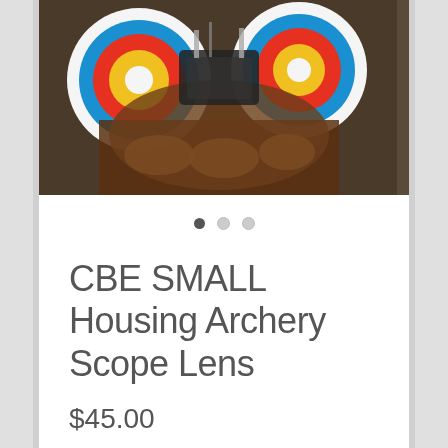[Figure (photo): Photo of an archery scope lens being handled, with colorful archery targets (red, blue, yellow rings) visible in the background.]
CBE SMALL Housing Archery Scope Lens
$45.00
Magnification